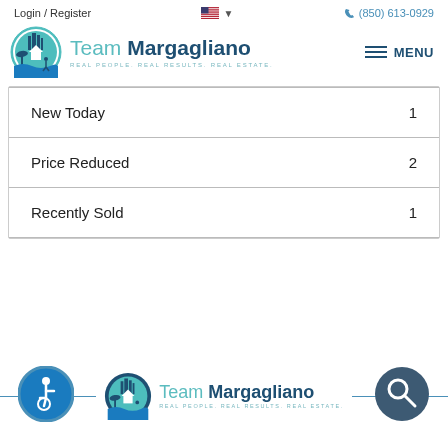Login / Register   (850) 613-0929
[Figure (logo): Team Margagliano logo with teal circular emblem and text: Team Margagliano, REAL PEOPLE. REAL RESULTS. REAL ESTATE. with MENU hamburger icon]
| New Today | 1 |
| Price Reduced | 2 |
| Recently Sold | 1 |
[Figure (logo): Team Margagliano footer logo with accessibility icon and search icon on blue horizontal line]